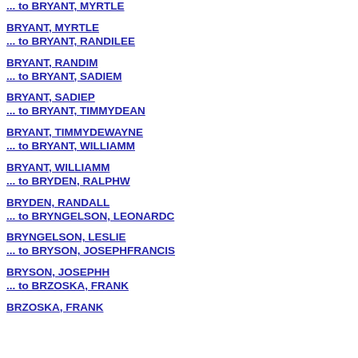... to BRYANT, MYRTLE
BRYANT, MYRTLE
... to BRYANT, RANDILEE
BRYANT, RANDIM
... to BRYANT, SADIEM
BRYANT, SADIEP
... to BRYANT, TIMMYDEAN
BRYANT, TIMMYDEWAYNE
... to BRYANT, WILLIAMM
BRYANT, WILLIAMM
... to BRYDEN, RALPHW
BRYDEN, RANDALL
... to BRYNGELSON, LEONARDC
BRYNGELSON, LESLIE
... to BRYSON, JOSEPHFRANCIS
BRYSON, JOSEPHH
... to BRZOSKA, FRANK
BRZOSKA, FRANK